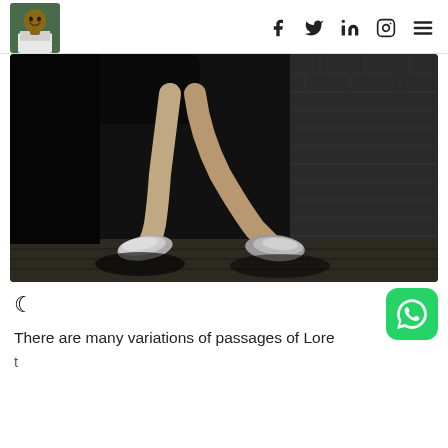[Figure (photo): Avatar/profile photo of a smiling person in the page header navigation]
f  y  in  [instagram]  [menu]
[Figure (photo): Black and white photograph of a person's legs wearing metallic loafers/shoes, standing on a wooden floor against a dark brick wall background]
There are many variations of passages of Lore
[truncated second line]